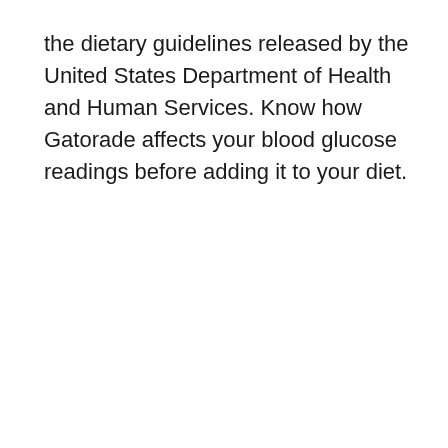the dietary guidelines released by the United States Department of Health and Human Services. Know how Gatorade affects your blood glucose readings before adding it to your diet.